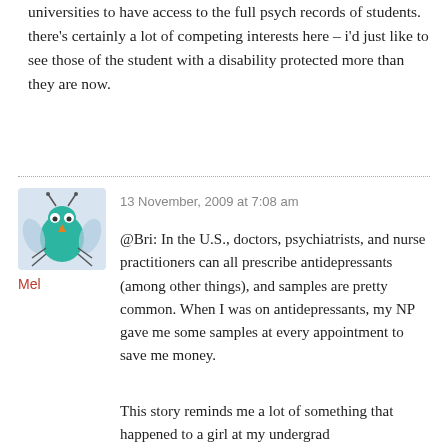universities to have access to the full psych records of students. there's certainly a lot of competing interests here – i'd just like to see those of the student with a disability protected more than they are now.
13 November, 2009 at 7:08 am
[Figure (illustration): Avatar image of a cartoon teal bug-like creature with eyes and antennae on a light blue background]
Mel
@Bri: In the U.S., doctors, psychiatrists, and nurse practitioners can all prescribe antidepressants (among other things), and samples are pretty common. When I was on antidepressants, my NP gave me some samples at every appointment to save me money.
This story reminds me a lot of something that happened to a girl at my undergrad